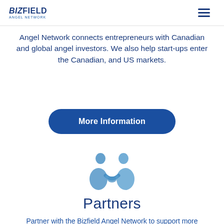BizField Angel Network
Angel Network connects entrepreneurs with Canadian and global angel investors. We also help start-ups enter the Canadian, and US markets.
More Information
[Figure (illustration): Two blue silhouette figures shaking hands / partnering icon]
Partners
Partner with the Bizfield Angel Network to support more entrepreneurs and their cross-border ventures by increasing programs, events, and connections.
Partner With Us